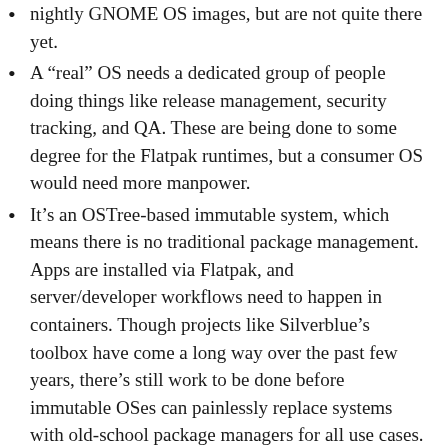nightly GNOME OS images, but are not quite there yet.
A “real” OS needs a dedicated group of people doing things like release management, security tracking, and QA. These are being done to some degree for the Flatpak runtimes, but a consumer OS would need more manpower.
It’s an OSTree-based immutable system, which means there is no traditional package management. Apps are installed via Flatpak, and server/developer workflows need to happen in containers. Though projects like Silverblue’s toolbox have come a long way over the past few years, there’s still work to be done before immutable OSes can painlessly replace systems with old-school package managers for all use cases.
It takes time to start a new operating system from scratch, especially when it’s using cutting-edge